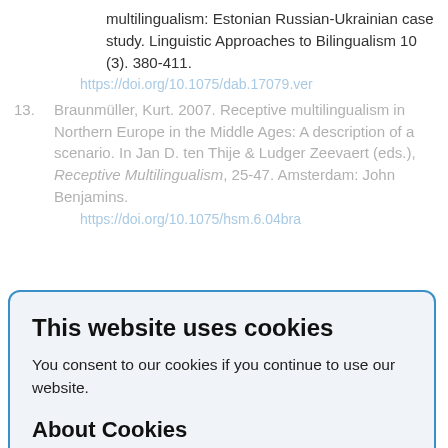12. Brunets, Anna, Buna Buntina & Anna Verschik. 2020. Mediated receptive multilingualism: Estonian Russian-Ukrainian case study. Linguistic Approaches to Bilingualism 10 (3). 380-411.
https://doi.org/10.1075/dab.17079.ver (dimmed by modal)
13. Braunmuller, Kurt. 2007. Receptive multilingualism in Northern Europe in the Middle Ages: A description of a scenario. In Jan D. ten Thije & Ludger Zeevaert (eds.), Receptive Multilingualism, 25-47. Amsterdam: John Benjamins. (dimmed by modal)
https://doi.org/10.1075/hsm.6.04bra
14. Bybee, Joan. 2010. Language, Usage and Cognition. Cambridge: Cambridge University Press.
15. Cenoz, Jasone, Britta Hufeisen & Ulrike...
This website uses cookies
You consent to our cookies if you continue to use our website.
About Cookies
OK